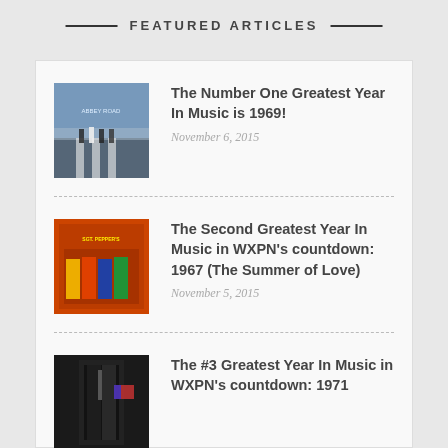FEATURED ARTICLES
The Number One Greatest Year In Music is 1969! — November 6, 2015
The Second Greatest Year In Music in WXPN's countdown: 1967 (The Summer of Love) — November 5, 2015
The #3 Greatest Year In Music in WXPN's countdown: 1971